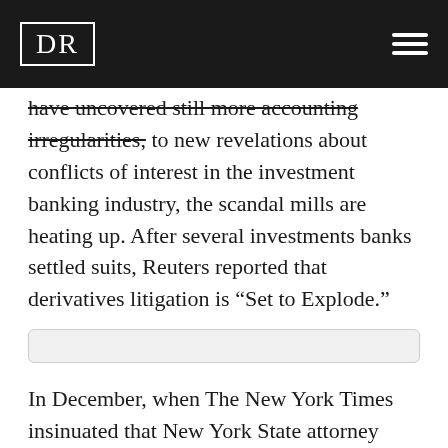DR
have uncovered still more accounting irregularities, to new revelations about conflicts of interest in the investment banking industry, the scandal mills are heating up. After several investments banks settled suits, Reuters reported that derivatives litigation is “Set to Explode.”
In December, when The New York Times insinuated that New York State attorney general Eliot Spitzer was about to relinquish his offensive against various financial giants, Spitzer quickly disavowed the notion. Since then, he has opened up a new line of attack against insurance giant AIG and issued subpoenas to major record labels and investment consulting firms